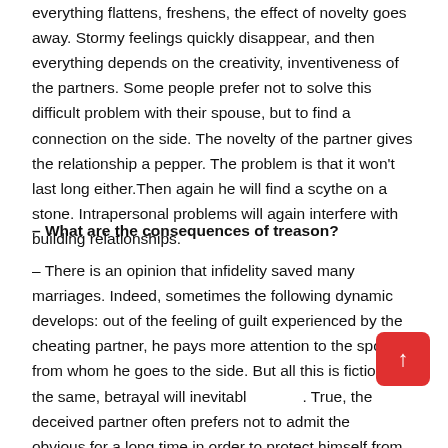everything flattens, freshens, the effect of novelty goes away. Stormy feelings quickly disappear, and then everything depends on the creativity, inventiveness of the partners. Some people prefer not to solve this difficult problem with their spouse, but to find a connection on the side. The novelty of the partner gives the relationship a pepper. The problem is that it won't last long either.Then again he will find a scythe on a stone. Intrapersonal problems will again interfere with building relationships.
– What are the consequences of treason?
– There is an opinion that infidelity saved many marriages. Indeed, sometimes the following dynamic develops: out of the feeling of guilt experienced by the cheating partner, he pays more attention to the spouse, from whom he goes to the side. But all this is fiction. All the same, betrayal will inevitably. True, the deceived partner often prefers not to admit the obvious for a long time in order to protect himself from pain.